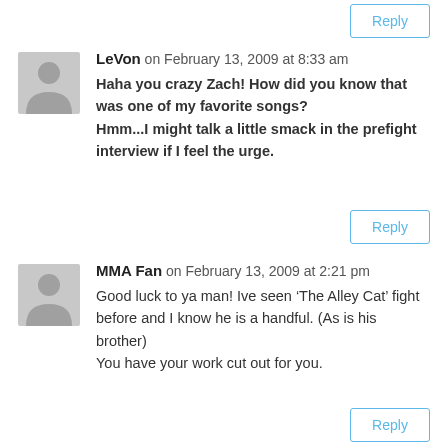Reply
LeVon on February 13, 2009 at 8:33 am
Haha you crazy Zach! How did you know that was one of my favorite songs?
Hmm...I might talk a little smack in the prefight interview if I feel the urge.
Reply
MMA Fan on February 13, 2009 at 2:21 pm
Good luck to ya man! Ive seen ‘The Alley Cat’ fight before and I know he is a handful. (As is his brother)
You have your work cut out for you.
Reply